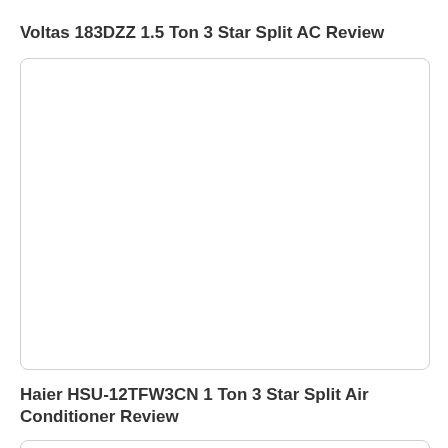Voltas 183DZZ 1.5 Ton 3 Star Split AC Review
[Figure (photo): Empty white image box with rounded border for Voltas 183DZZ 1.5 Ton 3 Star Split AC]
Haier HSU-12TFW3CN 1 Ton 3 Star Split Air Conditioner Review
[Figure (photo): Empty white image box with rounded border for Haier HSU-12TFW3CN 1 Ton 3 Star Split Air Conditioner]